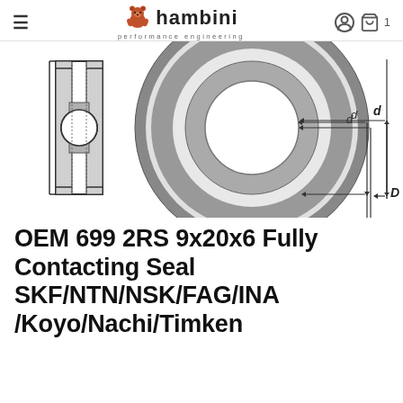hambini performance engineering
[Figure (engineering-diagram): Technical cross-section diagram of a sealed ball bearing (699 2RS). Left side shows a side/profile view of the bearing in a rectangular housing with a circular bore. Right side shows a front face view of the bearing as concentric circles with shaded races and a seal, with dimension lines labeled 'd' (inner diameter) and 'D' (outer diameter).]
OEM 699 2RS 9x20x6 Fully Contacting Seal SKF/NTN/NSK/FAG/INA/Koyo/Nachi/Timken